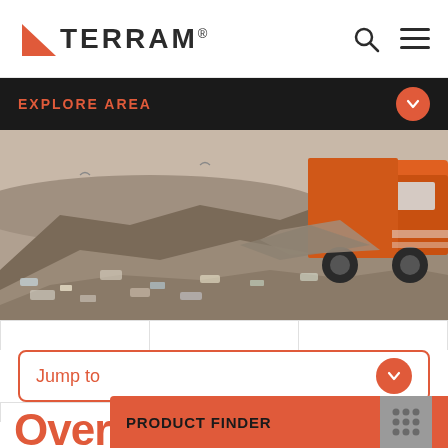[Figure (logo): TERRAM logo with red triangle arrow and black bold text]
EXPLORE AREA
[Figure (photo): Landfill scene with orange garbage truck dumping waste onto a large pile of mixed trash and debris]
Jump to
Overv
PRODUCT FINDER